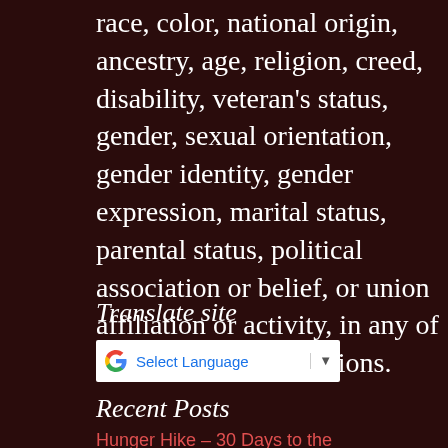race, color, national origin, ancestry, age, religion, creed, disability, veteran's status, gender, sexual orientation, gender identity, gender expression, marital status, parental status, political association or belief, or union affiliation or activity, in any of its activities or operations.
Translate site
[Figure (other): Google Translate widget showing a 'Select Language' dropdown with Google G logo and dropdown arrow]
Recent Posts
Hunger Hike – 30 Days to the